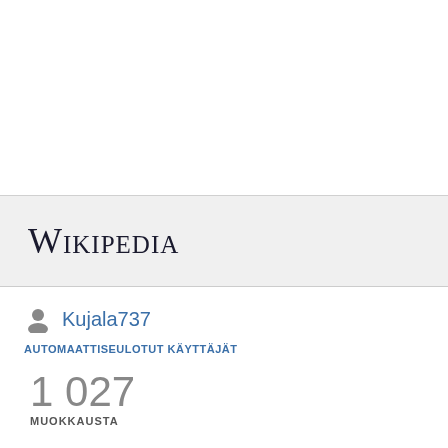Wikipedia
Kujala737
AUTOMAATTISEULOTUT KÄYTTÄJÄT
1 027
MUOKKAUSTA